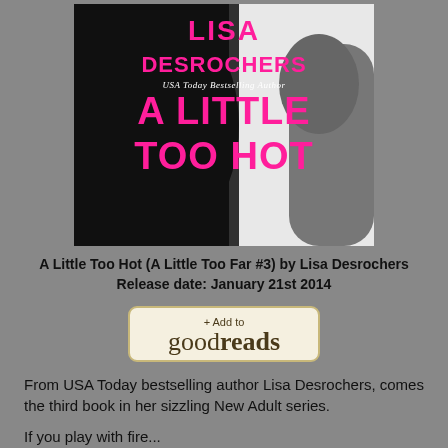[Figure (illustration): Book cover for 'A Little Too Hot' by Lisa Desrochers. Dark silhouette background with hot pink bold text showing author name 'LISA DESROCHERS', subtitle 'USA Today Bestselling Author', and title 'A LITTLE TOO HOT'.]
A Little Too Hot (A Little Too Far #3) by Lisa Desrochers
Release date: January 21st 2014
[Figure (logo): + Add to goodreads button with cream/tan background and brown text]
From USA Today bestselling author Lisa Desrochers, comes the third book in her sizzling New Adult series.
If you play with fire...